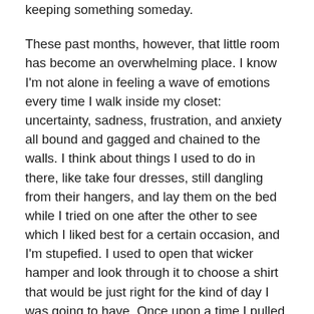keeping something someday.
These past months, however, that little room has become an overwhelming place. I know I'm not alone in feeling a wave of emotions every time I walk inside my closet: uncertainty, sadness, frustration, and anxiety all bound and gagged and chained to the walls. I think about things I used to do in there, like take four dresses, still dangling from their hangers, and lay them on the bed while I tried on one after the other to see which I liked best for a certain occasion, and I'm stupefied. I used to open that wicker hamper and look through it to choose a shirt that would be just right for the kind of day I was going to have. Once upon a time I pulled a pair of jeans from the bottom of the stack to ensure that I didn't rewear the same one I'd worn the last time I saw the people I was preparing to see. I actually used to touch the rows of skirts and dressy shirts